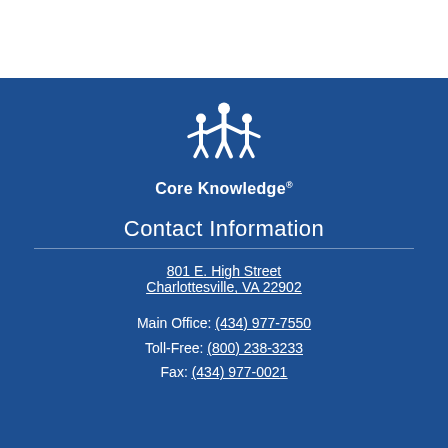[Figure (logo): Core Knowledge logo: white silhouette of people holding hands in a circle above the text 'Core Knowledge' with registered trademark symbol]
Contact Information
801 E. High Street
Charlottesville, VA 22902
Main Office: (434) 977-7550
Toll-Free: (800) 238-3233
Fax: (434) 977-0021